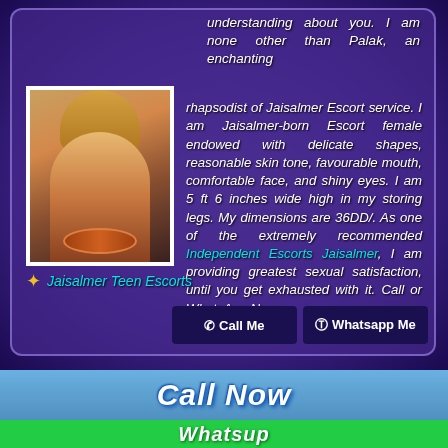understanding about you. I am none other than Palak, an enchanting rhapsodist of Jaisalmer Escort service. I am Jaisalmer-born Escort female endowed with delicate shapes, reasonable skin tone, favourable mouth, comfortable face, and shiny eyes. I am 5 ft 6 inches wide high in my storing legs. My dimensions are 36DD/. As one of the extremely recommended Independent Escorts Jaisalmer, I am providing greatest sexual satisfaction, until you get exhausted with it. Call or WhatsApp Now :-
[Figure (photo): Photo of a woman escort with blonde hair wearing red outfit]
Jaisalmer Teen Escorts
Call Me   Whatsapp Me
Call Now
Whatsup